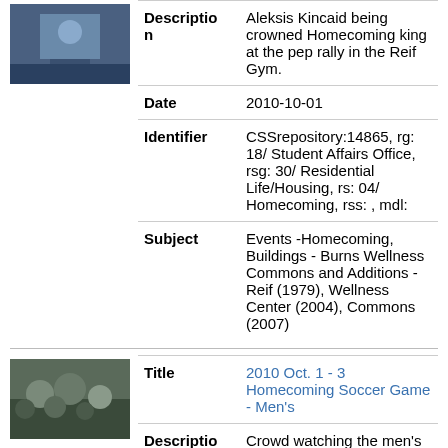[Figure (photo): Thumbnail photo of Aleksis Kincaid being crowned Homecoming king]
| Field | Value |
| --- | --- |
| Description | Aleksis Kincaid being crowned Homecoming king at the pep rally in the Reif Gym. |
| Date | 2010-10-01 |
| Identifier | CSSrepository:14865, rg: 18/ Student Affairs Office, rsg: 30/ Residential Life/Housing, rs: 04/ Homecoming, rss: , mdl: |
| Subject | Events -Homecoming, Buildings - Burns Wellness Commons and Additions - Reif (1979), Wellness Center (2004), Commons (2007) |
[Figure (photo): Thumbnail photo of crowd watching men's soccer game]
| Field | Value |
| --- | --- |
| Title | 2010 Oct. 1 - 3 Homecoming Soccer Game - Men's |
| Description | Crowd watching the men's soccer game at Saints Field. |